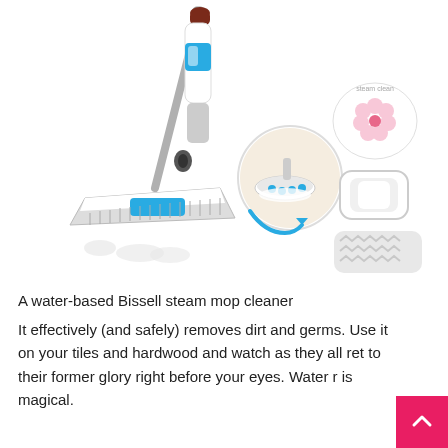[Figure (illustration): Product image of a Bissell steam mop cleaner (white and blue) shown upright with a circular inset showing the mop head in use on hardwood floor, a blue arrow, and accessories on the right: a scented disc, a water tank cap, and a chevron-patterned mop pad.]
A water-based Bissell steam mop cleaner
It effectively (and safely) removes dirt and germs. Use it on your tiles and hardwood and watch as they all ret to their former glory right before your eyes. Water r is magical.